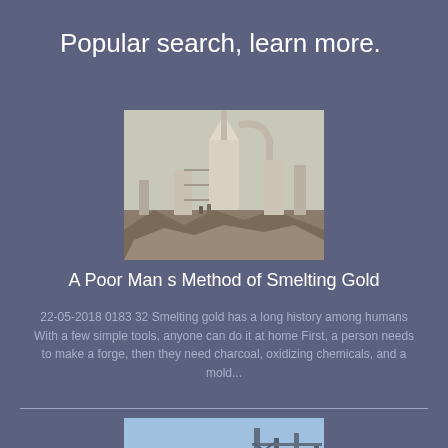Popular search, learn more.
[Figure (photo): Industrial milling or grinding equipment on a demolition or construction site, with large cylindrical and cone-shaped machinery, pipes, and rubble on the ground.]
A Poor Man s Method of Smelting Gold
22-05-2018 0183 32 Smelting gold has a long history among humans With a few simple tools, anyone can do it at home First, a person needs to make a forge, then they need charcoal, oxidizing chemicals, and a mold...
[Figure (photo): Industrial facility with large white dome-shaped tanks or silos and metal framework structures, photographed from below against a bright sky.]